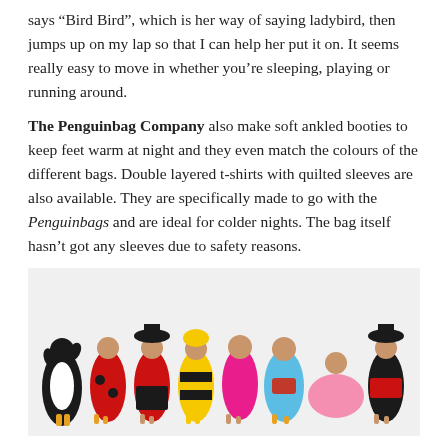says “Bird Bird”, which is her way of saying ladybird, then jumps up on my lap so that I can help her put it on. It seems really easy to move in whether you’re sleeping, playing or running around.
The Penguinbag Company also make soft ankled booties to keep feet warm at night and they even match the colours of the different bags. Double layered t-shirts with quilted sleeves are also available. They are specifically made to go with the Penguinbags and are ideal for colder nights. The bag itself hasn’t got any sleeves due to safety reasons.
[Figure (photo): Eight children standing in a row wearing various Penguinbag sleeping bag costumes including penguin, ladybird, pirate bee, bumblebee, pink onesie, astronaut/blue onesie, pink ballerina/princess, and pirate costumes, photographed on a white background.]
The bags are also available in 1 TOG and for bigger kids in sizes